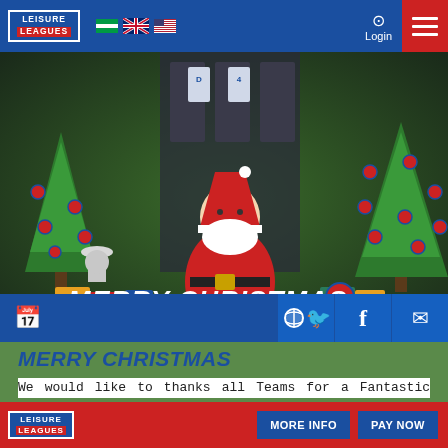[Figure (screenshot): Leisure Leagues website screenshot showing Christmas themed hero image with Santa Claus, Christmas trees with ornaments, football gifts, trophies, and jerseys. Navigation bar with logo, flags, login. Bottom bar with calendar and social media icons. Text overlay reads MERRY CHRISTMAS HAPPY NEW YEAR.]
MERRY CHRISTMAS
We would like to thanks all Teams for a Fantastic 2021 ??After a difficult start into the year, we saw a brilliant 2021, with many great games and even more GOALS 🥅 . We are working in the background to make 2022 an
LEISURE LEAGUES | MORE INFO | PAY NOW